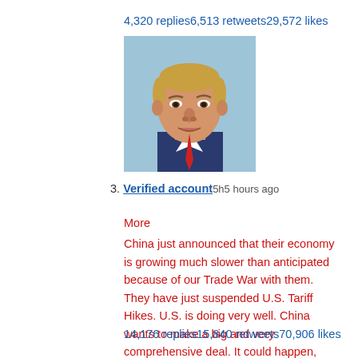4,320 replies6,513 retweets29,572 likes
[Figure (photo): Profile photo of a man in a suit, close-up face shot]
3. Verified account 5h5 hours ago
More
China just announced that their economy is growing much slower than anticipated because of our Trade War with them. They have just suspended U.S. Tariff Hikes. U.S. is doing very well. China wants to make a big and very comprehensive deal. It could happen, and rather soon!
14,176 replies15,840 retweets70,906 likes